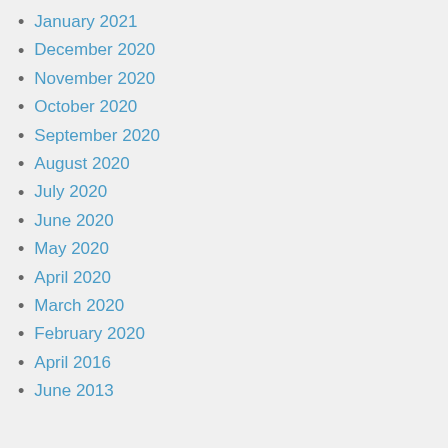January 2021
December 2020
November 2020
October 2020
September 2020
August 2020
July 2020
June 2020
May 2020
April 2020
March 2020
February 2020
April 2016
June 2013